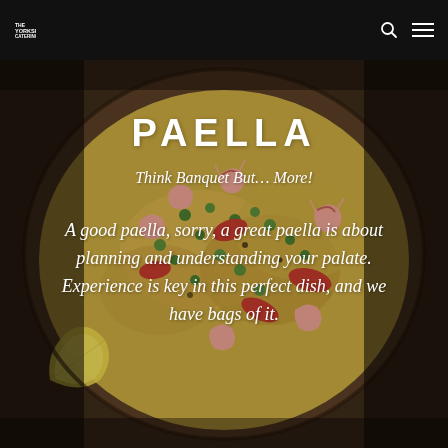THE YORKSHIRE CATERING CO
[Figure (photo): Overhead close-up photo of a paella dish in a large pan, showing shrimp, rice, peas, red peppers, and other ingredients. A lemon wedge is visible to the lower left.]
PAELLA
Think Banquet But… More!
A good paella, sorry, a great paella is about planning and understanding your palate. Experience is key in this perfect dish, and we have bags of it.